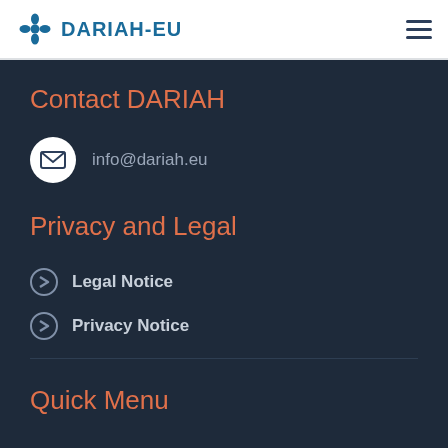DARIAH-EU
Contact DARIAH
info@dariah.eu
Privacy and Legal
Legal Notice
Privacy Notice
Quick Menu